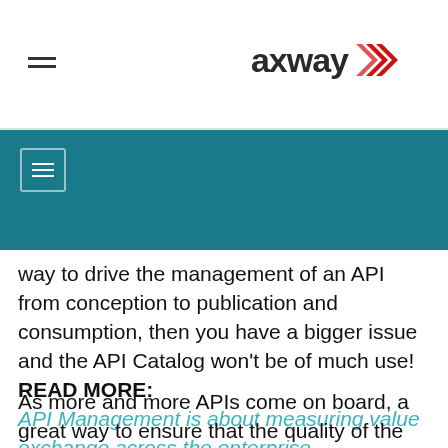axway
way to drive the management of an API from conception to publication and consumption, then you have a bigger issue and the API Catalog won't be of much use! READ MORE: API Management is about measuring value exchange across the enterprise.
As more and more APIs come on board, a great way to ensure that the quality of the information in your API